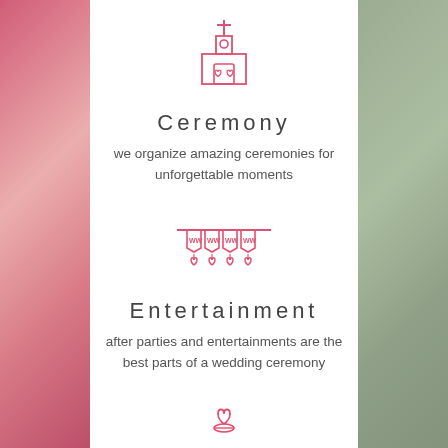[Figure (illustration): Pink outline icon of a church with a cross on top and two hearts on the front door]
Ceremony
we organize amazing ceremonies for unforgettable moments
[Figure (illustration): Pink outline icon of a festive banner/bunting with WWW text and hanging hearts]
Entertainment
after parties and entertainments are the best parts of a wedding ceremony
[Figure (illustration): Pink outline icon partially visible at bottom, appears to be a heart with a ring or similar wedding symbol]